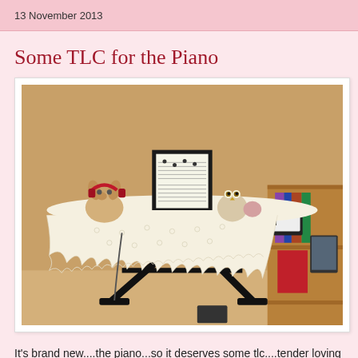13 November 2013
Some TLC for the Piano
[Figure (photo): A keyboard piano covered with a white crocheted lace doily cover. Two stuffed animal toys sit on top — a dog with headphones on the left and an owl on the right. Sheet music is propped up on the music stand. The piano is on a black X-stand. To the right is a wooden shelving unit with books and a red box. The room appears to be a home setting.]
It's brand new....the piano...so it deserves some tlc....tender loving care...it deserves a nice crotchet lace cover to ward off those pesky dust!